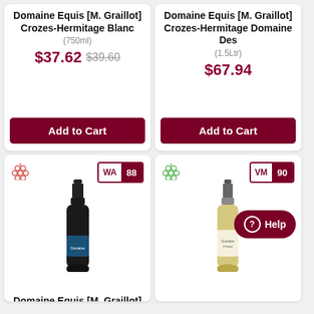Domaine Equis [M. Graillot] Crozes-Hermitage Blanc
(750ml)
$37.62 $39.60
Add to Cart
Domaine Equis [M. Graillot] Crozes-Hermitage Domaine Des
(1.5Ltr)
$67.94
Add to Cart
[Figure (photo): Red wine bottle with blue label - Domaine Equis [M. Graillot] Crozes-Hermitage Equinoxe, with WA 88 rating badge and red grape icon]
WA 88
Domaine Equis [M. Graillot] Crozes-Hermitage Equinoxe
[Figure (photo): White wine bottle - Domaine Philippe Vincent Jaboulet Crozes-Hermitage Blanc 2017, with VM 90 rating badge and green grape icon]
VM 90
Domaine Philippe Vincent Jaboulet Crozes-Hermitage Blanc 2017